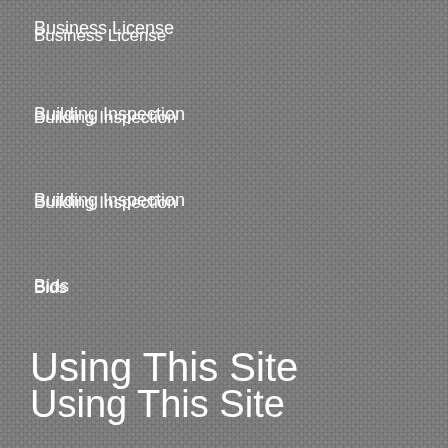Business License
Building Inspection
Building Inspection
Bids
Using This Site
Home
Site Map
Accessibility
Copyright Notices
Privacy Policy
Government Websites by CivicPlus®